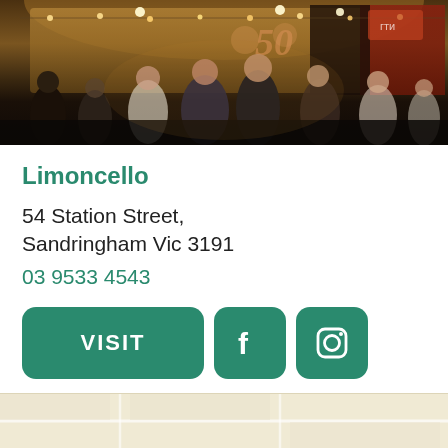[Figure (photo): Indoor venue/bar photo showing a crowded party scene with people socializing, warm lighting, and a '50' balloon decoration visible in the background.]
Limoncello
54 Station Street,
Sandringham Vic 3191
03 9533 4543
[Figure (other): Row of buttons: VISIT button, Facebook icon button, Instagram icon button — all in teal/green color]
[Figure (map): Partial map view at the bottom of the page showing a beige/cream colored map area]